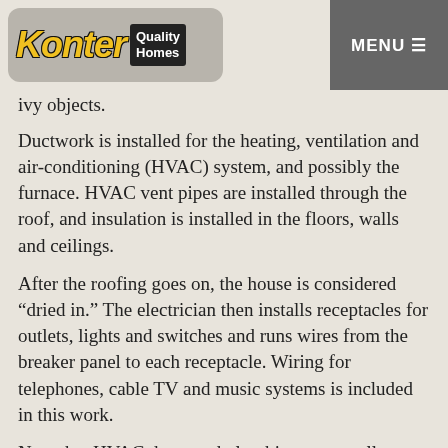Konter Quality Homes | MENU
ivy objects.
Ductwork is installed for the heating, ventilation and air-conditioning (HVAC) system, and possibly the furnace. HVAC vent pipes are installed through the roof, and insulation is installed in the floors, walls and ceilings.
After the roofing goes on, the house is considered “dried in.” The electrician then installs receptacles for outlets, lights and switches and runs wires from the breaker panel to each receptacle. Wiring for telephones, cable TV and music systems is included in this work.
Note that HVAC ducts and plumbing are usually installed before wiring, because it’s easier to run wires around pipes and ducts than vice versa.
INSPECTIONS 2, 3 and 4: Rough framing, plumbing and